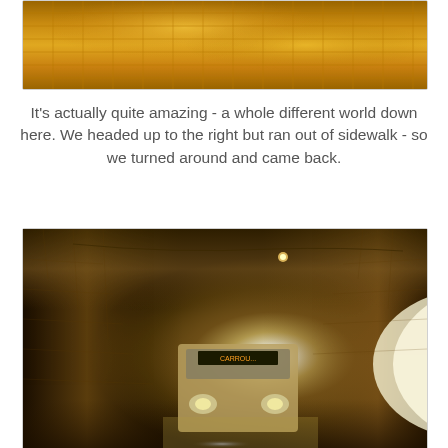[Figure (photo): Close-up photo of a tunnel ceiling with golden/amber lighting illuminating a grid-patterned stone or tile surface.]
It's actually quite amazing - a whole different world down here. We headed up to the right but ran out of sidewalk - so we turned around and came back.
[Figure (photo): Photo of a bus driving through a narrow underground tunnel with amber lighting on the walls and a bright light visible at the far end of the tunnel.]